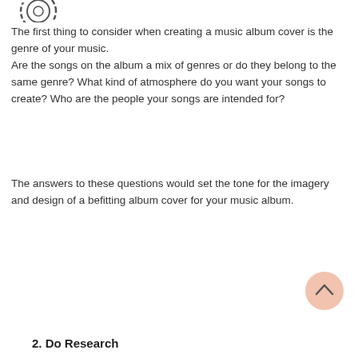[Figure (logo): Circular logo icon at top left, partially visible]
The first thing to consider when creating a music album cover is the genre of your music. Are the songs on the album a mix of genres or do they belong to the same genre? What kind of atmosphere do you want your songs to create? Who are the people your songs are intended for?
The answers to these questions would set the tone for the imagery and design of a befitting album cover for your music album.
[Figure (other): Peach/salmon colored circular scroll-to-top button with upward chevron arrow, positioned at bottom right]
2. Do Research